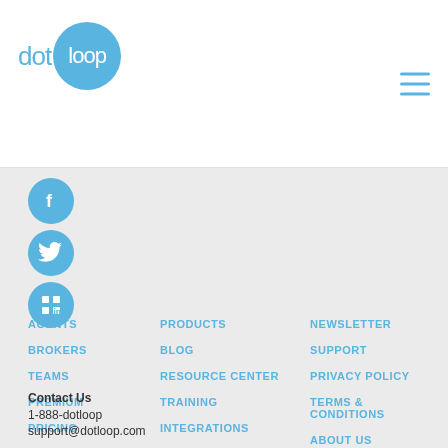[Figure (logo): dotloop logo with blue circle containing 'loop' text and 'dot' text to the left]
[Figure (other): Hamburger menu icon with three horizontal blue lines]
[Figure (other): Facebook social icon - blue circle with white F]
[Figure (other): Twitter social icon - blue circle with white bird]
[Figure (other): LinkedIn social icon - blue circle with white in]
AGENTS
BROKERS
TEAMS
PREMIUM
PRICING
SIGN UP
SIGN IN
PRODUCTS
BLOG
RESOURCE CENTER
TRAINING
INTEGRATIONS
MOBILE APP
CUSTOMERS
NEWSLETTER
SUPPORT
PRIVACY POLICY
TERMS & CONDITIONS
ABOUT US
CAREERS
COMING SOON
Contact Us
1-888-dotloop
support@dotloop.com